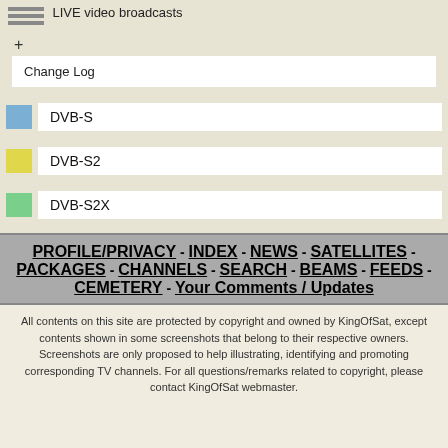LIVE video broadcasts
Change Log
DVB-S
DVB-S2
DVB-S2X
PROFILE/PRIVACY - INDEX - NEWS - SATELLITES - PACKAGES - CHANNELS - SEARCH - BEAMS - FEEDS - CEMETERY - Your Comments / Updates
All contents on this site are protected by copyright and owned by KingOfSat, except contents shown in some screenshots that belong to their respective owners. Screenshots are only proposed to help illustrating, identifying and promoting corresponding TV channels. For all questions/remarks related to copyright, please contact KingOfSat webmaster.